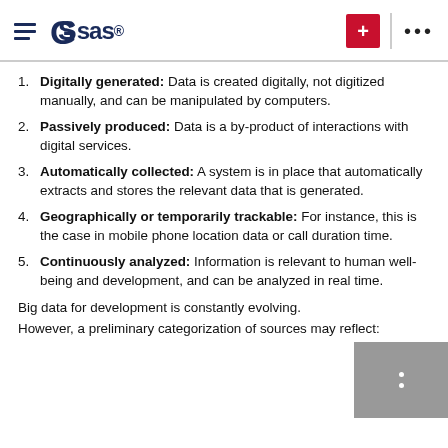SAS logo header with hamburger menu, plus button, and more options
Digitally generated: Data is created digitally, not digitized manually, and can be manipulated by computers.
Passively produced: Data is a by-product of interactions with digital services.
Automatically collected: A system is in place that automatically extracts and stores the relevant data that is generated.
Geographically or temporarily trackable: For instance, this is the case in mobile phone location data or call duration time.
Continuously analyzed: Information is relevant to human well-being and development, and can be analyzed in real time.
Big data for development is constantly evolving.
However, a preliminary categorization of sources may reflect: